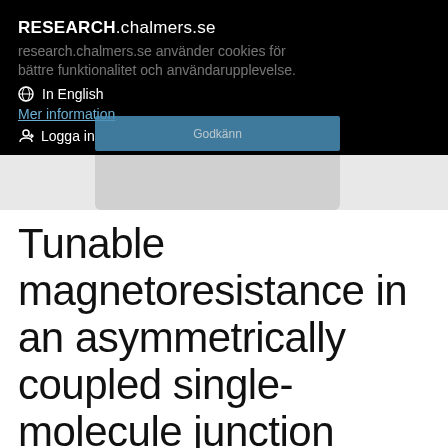RESEARCH.chalmers.se
research.chalmers.se använder cookies för bättre funktionalitet och användarupplevelse.
In English
Mer information
Logga in
Tunable magnetoresistance in an asymmetrically coupled single-molecule junction
Artikel i vetenskaplig tidskrift, 2015